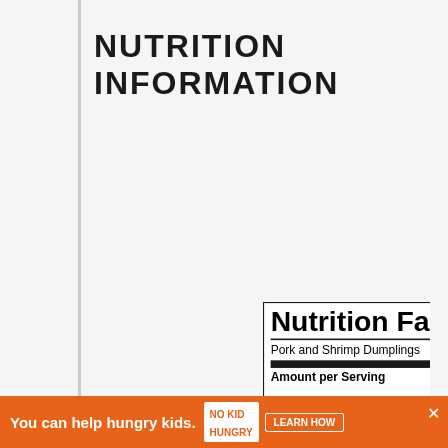NUTRITION INFORMATION
| Nutrient | Amount | % Daily Value |
| --- | --- | --- |
| Pork and Shrimp Dumplings |  |  |
| Calories | 115 |  |
| Fat | 6g | 9% |
| Saturated Fat | 1g | 6% |
| Trans Fat | 1g |  |
| Polyunsaturated Fat | 2g |  |
| Monounsaturated Fat | 2g |  |
| Cholesterol | 23mg | 8% |
| Sodium | 306mg | 13% |
| Carbohydrates | 10g | 3% |
| Fiber | 1g | 4% |
| Sugar | 1g | 1% |
| Protein | 5g | 10% |
You can help hungry kids. NO KID HUNGRY LEARN HOW